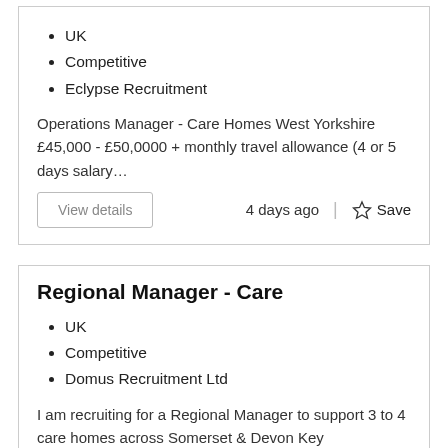UK
Competitive
Eclypse Recruitment
Operations Manager - Care Homes West Yorkshire £45,000 - £50,0000 + monthly travel allowance (4 or 5 days salary…
View details
4 days ago
Save
Regional Manager - Care
UK
Competitive
Domus Recruitment Ltd
I am recruiting for a Regional Manager to support 3 to 4 care homes across Somerset & Devon Key Responsibilities of …
View details
4 days ago
Save